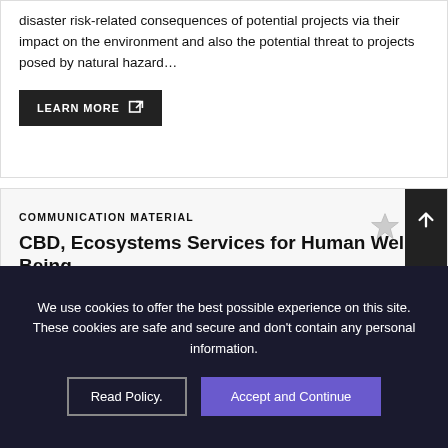disaster risk-related consequences of potential projects via their impact on the environment and also the potential threat to projects posed by natural hazard…
LEARN MORE
COMMUNICATION MATERIAL
CBD, Ecosystems Services for Human Well-Being
We use cookies to offer the best possible experience on this site. These cookies are safe and secure and don't contain any personal information.
Read Policy.
Accept and Continue